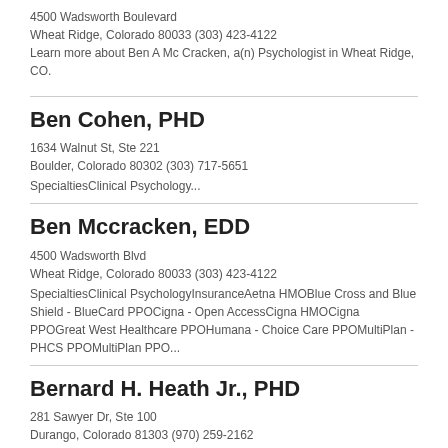4500 Wadsworth Boulevard
Wheat Ridge, Colorado 80033 (303) 423-4122
Learn more about Ben A Mc Cracken, a(n) Psychologist in Wheat Ridge, CO.
Ben Cohen, PHD
1634 Walnut St, Ste 221
Boulder, Colorado 80302 (303) 717-5651
SpecialtiesClinical Psychology...
Ben Mccracken, EDD
4500 Wadsworth Blvd
Wheat Ridge, Colorado 80033 (303) 423-4122
SpecialtiesClinical PsychologyInsuranceAetna HMOBlue Cross and Blue Shield - BlueCard PPOCigna - Open AccessCigna HMOCigna PPOGreat West Healthcare PPOHumana - Choice Care PPOMultiPlan - PHCS PPOMultiPlan PPO...
Bernard H. Heath Jr., PHD
281 Sawyer Dr, Ste 100
Durango, Colorado 81303 (970) 259-2162